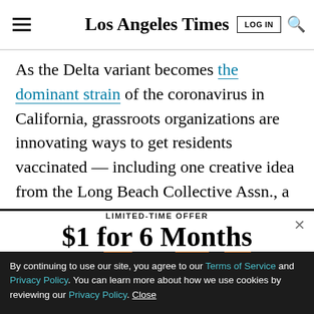Los Angeles Times
As the Delta variant becomes the dominant strain of the coronavirus in California, grassroots organizations are innovating ways to get residents vaccinated — including one creative idea from the Long Beach Collective Assn., a coalition of cannabis businesses, and
LIMITED-TIME OFFER
$1 for 6 Months
[Figure (screenshot): KFI AM 640 radio station logo/ad banner in dark background]
By continuing to use our site, you agree to our Terms of Service and Privacy Policy. You can learn more about how we use cookies by reviewing our Privacy Policy. Close